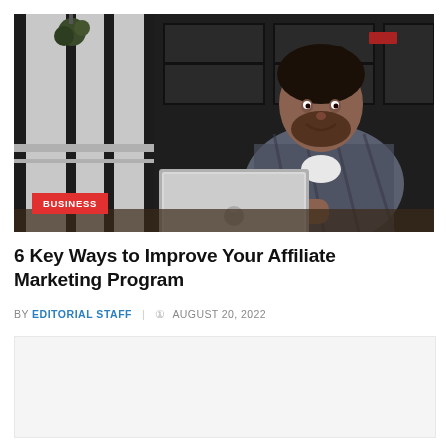[Figure (photo): Man with beard smiling, sitting at a table with an open MacBook laptop in a cafe/restaurant setting. He is wearing a plaid shirt. The background shows dark window frames and hanging plants.]
6 Key Ways to Improve Your Affiliate Marketing Program
BY EDITORIAL STAFF   AUGUST 20, 2022
[Figure (other): Light gray advertisement placeholder block]